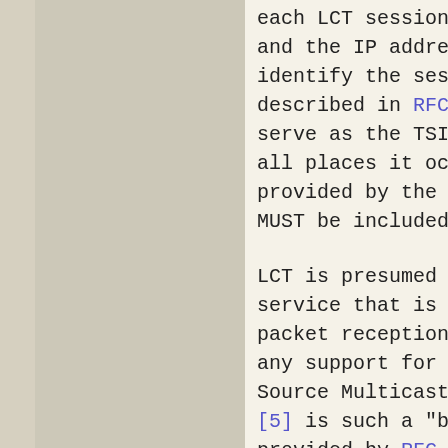each LCT session.  The TSI is s and the IP address of the sende identify the session.  If the u described in RFC 768 [16], then serve as the TSI for the sessio all places it occurs within a p provided by the network, transp MUST be included in the LCT hea
LCT is presumed to be used with service that is a "best effort" packet reception or packet rece any support for flow or congest Source Multicast (ASM) model of [5] is such a "best effort" netu provided by RFC 1112 is largely control or reliability should b scalability limitations, especi of receivers.
There are currently two models Multicast (ASM) model as define Specific Multicast (SSM) model both multicast models, but in a different environmental concern